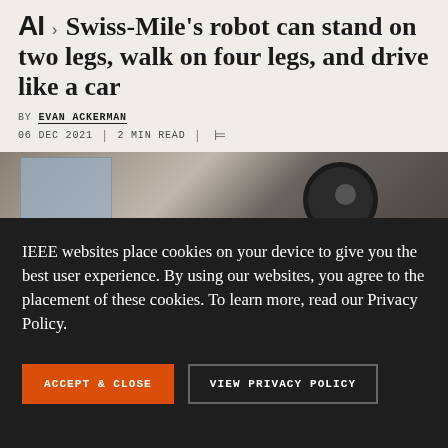AI > Swiss-Mile's robot can stand on two legs, walk on four legs, and drive like a car
BY EVAN ACKERMAN
06 DEC 2021 | 2 MIN READ
[Figure (photo): Partial photo of a robot, showing a window background and a large wheel, overlaid by a cookie consent banner]
IEEE websites place cookies on your device to give you the best user experience. By using our websites, you agree to the placement of these cookies. To learn more, read our Privacy Policy.
ACCEPT & CLOSE
VIEW PRIVACY POLICY